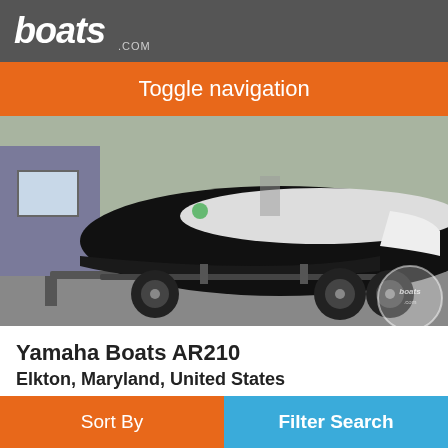boats.com
Toggle navigation
[Figure (photo): Black Yamaha Boats AR210 on a trailer in a parking lot, photographed from the side, with a building visible in the background.]
Yamaha Boats AR210
Elkton, Maryland, United States
2012
$48,561
Seller Chessie Marine Sales Inc.
Sort By  Filter Search